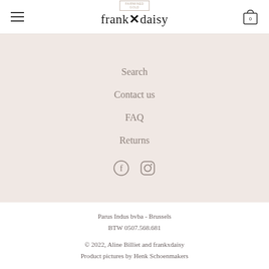frankxdaisy
Search
Contact us
FAQ
Returns
[Figure (other): Facebook and Instagram social media icons]
Parus Indus bvba - Brussels
BTW 0507.568.681

© 2022, Aline Billiet and frankxdaisy
Product pictures by Henk Schoenmakers

Our privacy policy
Our Terms x Conditions